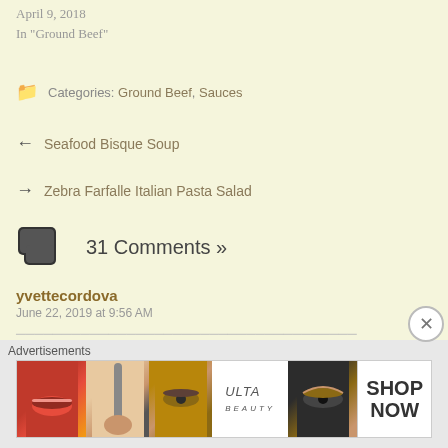April 9, 2018
In "Ground Beef"
Categories: Ground Beef, Sauces
← Seafood Bisque Soup
→ Zebra Farfalle Italian Pasta Salad
31 Comments »
yvettecordova
June 22, 2019 at 9:56 AM
[Figure (infographic): Ulta beauty advertisement banner with makeup photos (lips, brush, eye, smoky eye) and SHOP NOW call to action]